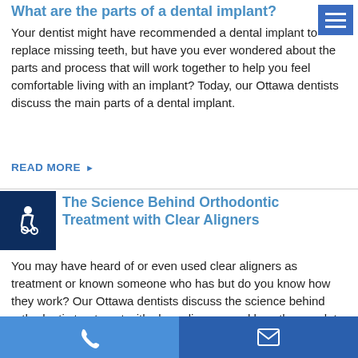What are the parts of a dental implant?
Your dentist might have recommended a dental implant to replace missing teeth, but have you ever wondered about the parts and process that will work together to help you feel comfortable living with an implant? Today, our Ottawa dentists discuss the main parts of a dental implant.
READ MORE ▶
The Science Behind Orthodontic Treatment with Clear Aligners
You may have heard of or even used clear aligners as treatment or known someone who has but do you know how they work? Our Ottawa dentists discuss the science behind orthodontic treatment with clear aligners, and how they work to straighten your teeth.
Phone | Email